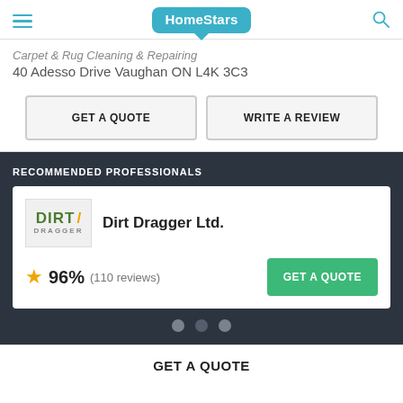HomeStars
Carpet & Rug Cleaning & Repairing
40 Adesso Drive Vaughan ON L4K 3C3
GET A QUOTE
WRITE A REVIEW
RECOMMENDED PROFESSIONALS
Dirt Dragger Ltd.
96% (110 reviews)
GET A QUOTE
GET A QUOTE